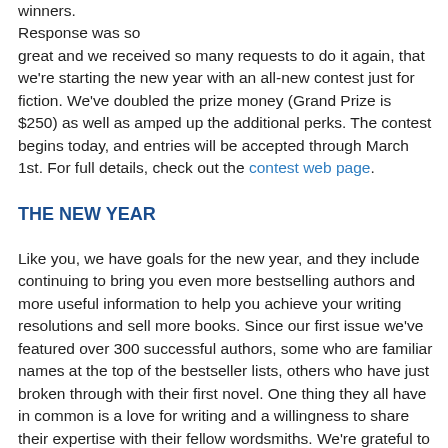winners.
Response was so great and we received so many requests to do it again, that we're starting the new year with an all-new contest just for fiction. We've doubled the prize money (Grand Prize is $250) as well as amped up the additional perks. The contest begins today, and entries will be accepted through March 1st. For full details, check out the contest web page.
THE NEW YEAR
Like you, we have goals for the new year, and they include continuing to bring you even more bestselling authors and more useful information to help you achieve your writing resolutions and sell more books. Since our first issue we've featured over 300 successful authors, some who are familiar names at the top of the bestseller lists, others who have just broken through with their first novel. One thing they all have in common is a love for writing and a willingness to share their expertise with their fellow wordsmiths. We're grateful to them all, proud to promote their works, and committed to keep bringing you a content-rich magazine that's never